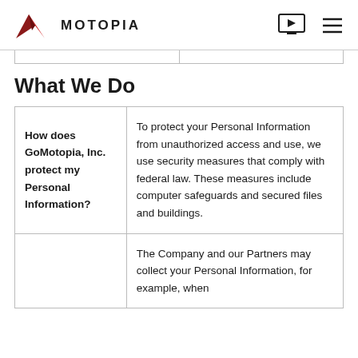MOTOPIA
| How does GoMotopia, Inc. protect my Personal Information? | To protect your Personal Information from unauthorized access and use, we use security measures that comply with federal law. These measures include computer safeguards and secured files and buildings. |
|  | The Company and our Partners may collect your Personal Information, for example, when |
What We Do